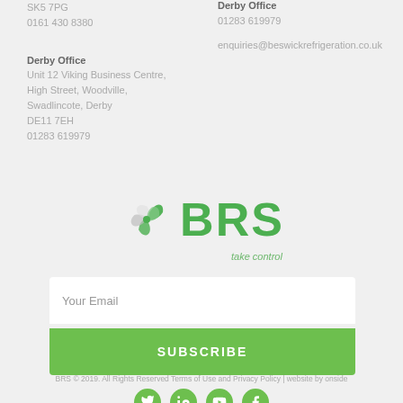SK5 7PG
0161 430 8380
Derby Office
Unit 12 Viking Business Centre,
High Street, Woodville,
Swadlincote, Derby
DE11 7EH
01283 619979
Derby Office
01283 619979
enquiries@beswickrefrigeration.co.uk
[Figure (logo): BRS logo with fan/spinner icon and tagline 'take control']
Your Email
SUBSCRIBE
BRS © 2019. All Rights Reserved Terms of Use and Privacy Policy | website by onside
[Figure (infographic): Social media icons: Twitter, LinkedIn, YouTube, Facebook]